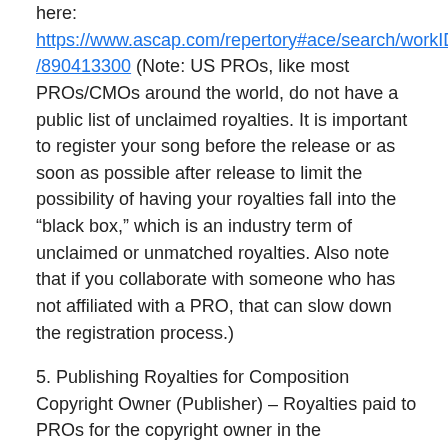here: https://www.ascap.com/repertory#ace/search/workID/890413300 (Note: US PROs, like most PROs/CMOs around the world, do not have a public list of unclaimed royalties. It is important to register your song before the release or as soon as possible after release to limit the possibility of having your royalties fall into the “black box,” which is an industry term of unclaimed or unmatched royalties. Also note that if you collaborate with someone who has not affiliated with a PRO, that can slow down the registration process.)
5. Publishing Royalties for Composition Copyright Owner (Publisher) – Royalties paid to PROs for the copyright owner in the compositions. This is the publisher or a self-published songwriter’s own publishing entity. For “6 Inch,” the publishers are 2082 Music Publishing, BMG, Domino Publishing, KMR Music Royalties, New Hidden Valley